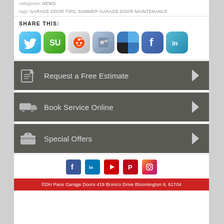categories: NEWS
tags: GARAGE DOOR TIPS, SUMMER GARAGE DOOR MAINTENANCE
SHARE THIS:
[Figure (infographic): Row of social sharing icon buttons: Twitter, StumbleUpon, Reddit, MySpace, Delicious, Facebook, LinkedIn]
[Figure (infographic): CTA button: Request a Free Estimate with edit icon and right arrow]
[Figure (infographic): CTA button: Book Service Online with truck icon and right arrow]
[Figure (infographic): CTA button: Special Offers with gift icon and right arrow]
[Figure (infographic): Footer social icons row: Facebook, LinkedIn, YouTube, Pinterest, Instagram]
©DH Pace Garage Doors 419 Bronco Drive Bloomington IL 61704